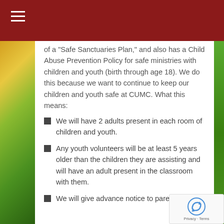of a "Safe Sanctuaries Plan," and also has a Child Abuse Prevention Policy for safe ministries with children and youth (birth through age 18). We do this because we want to continue to keep our children and youth safe at CUMC. What this means:
We will have 2 adults present in each room of children and youth.
Any youth volunteers will be at least 5 years older than the children they are assisting and will have an adult present in the classroom with them.
We will give advance notice to parents and